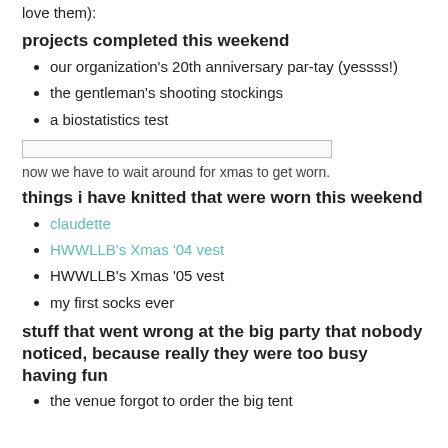love them):
projects completed this weekend
our organization's 20th anniversary par-tay (yessss!)
the gentleman's shooting stockings
a biostatistics test
[Figure (other): A horizontal divider bar (input/text field style rectangle)]
now we have to wait around for xmas to get worn.
things i have knitted that were worn this weekend
claudette
HWWLLB's Xmas '04 vest
HWWLLB's Xmas '05 vest
my first socks ever
stuff that went wrong at the big party that nobody noticed, because really they were too busy having fun
the venue forgot to order the big tent